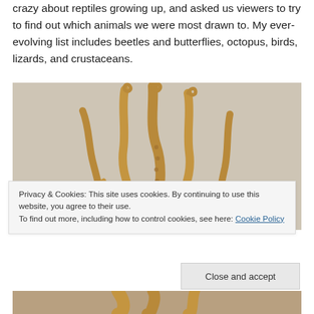crazy about reptiles growing up, and asked us viewers to try to find out which animals we were most drawn to. My ever-evolving list includes beetles and butterflies, octopus, birds, lizards, and crustaceans.
[Figure (photo): A golden/bronze sculpture of octopus tentacles reaching upward against a light beige background]
Privacy & Cookies: This site uses cookies. By continuing to use this website, you agree to their use.
To find out more, including how to control cookies, see here: Cookie Policy
Close and accept